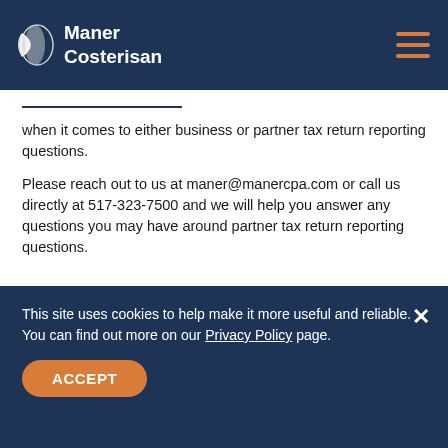Maner Costerisan
when it comes to either business or partner tax return reporting questions.
Please reach out to us at maner@manercpa.com or call us directly at 517-323-7500 and we will help you answer any questions you may have around partner tax return reporting questions.
This site uses cookies to help make it more useful and reliable. You can find out more on our Privacy Policy page.
ACCEPT